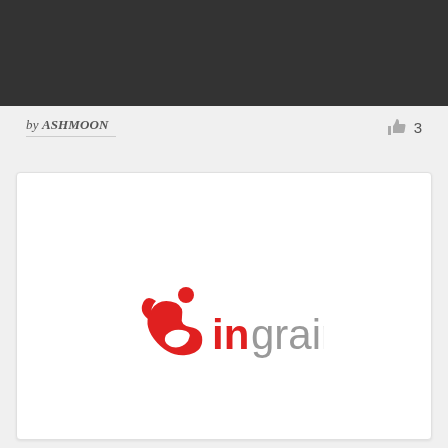[Figure (other): Dark gray/charcoal banner image at top of page]
by ASHMOON   👍 3
[Figure (logo): Ingrain logo: red figure/person icon with swoosh and the word 'in' in red bold text and 'grain' in gray text]